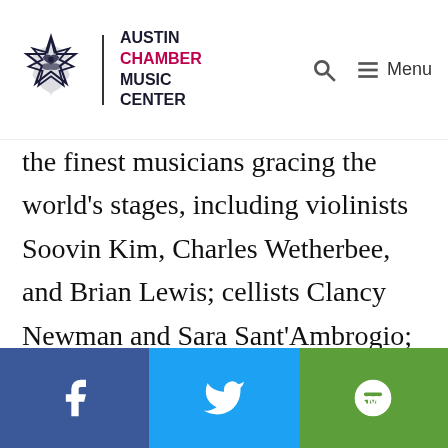Austin Chamber Music Center — navigation header with logo, search icon, and menu
the finest musicians gracing the world's stages, including violinists Soovin Kim, Charles Wetherbee, and Brian Lewis; cellists Clancy Newman and Sara Sant'Ambrogio; and the Jupiter, Cavani, Carpe Diem, and Chiara String Quartets. Michelle's other collaborations include the Meridian Arts Ensemble, American Repertory Ensemble, American Ballet Theater, New York City Ballet, Joffrey Ballet, the Austin Symphony
[Figure (other): Social share bar with Facebook (blue), Twitter (cyan), and SMS (green) buttons]